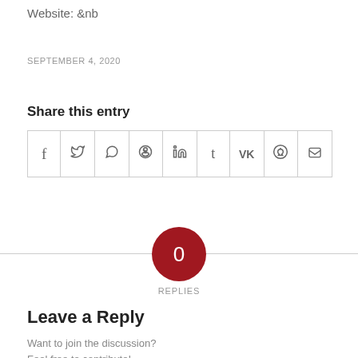Website: &nb
SEPTEMBER 4, 2020
Share this entry
[Figure (other): Social share icons row: Facebook, Twitter, WhatsApp, Pinterest, LinkedIn, Tumblr, VK, Reddit, Email]
[Figure (other): Red circle with 0 inside, labeled REPLIES below]
Leave a Reply
Want to join the discussion?
Feel free to contribute!